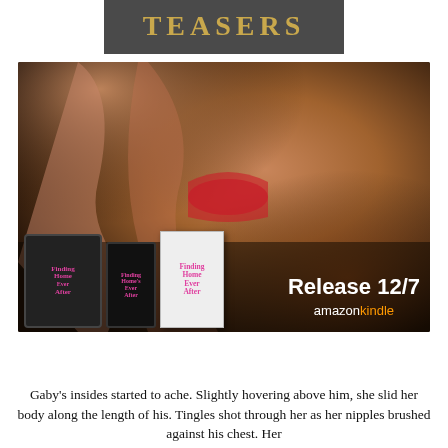TEASERS
[Figure (photo): Promotional book teaser image showing a reclining figure with warm skin tones in the background, and book covers for 'Finding Home Ever After' displayed as tablet, phone, and print editions. Text overlay reads 'Release 12/7' and 'amazon kindle'.]
Gaby's insides started to ache. Slightly hovering above him, she slid her body along the length of his. Tingles shot through her as her nipples brushed against his chest. Her